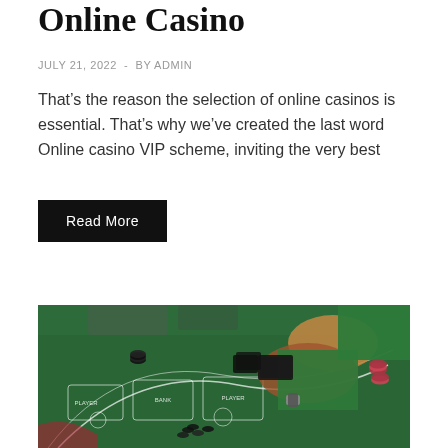Online Casino
JULY 21, 2022  -  BY ADMIN
That’s the reason the selection of online casinos is essential. That’s why we’ve created the last word Online casino VIP scheme, inviting the very best
Read More
[Figure (photo): Photo of a casino baccarat table with a dealer in a green jacket handling chips and cards on a green felt table with betting layout markings.]